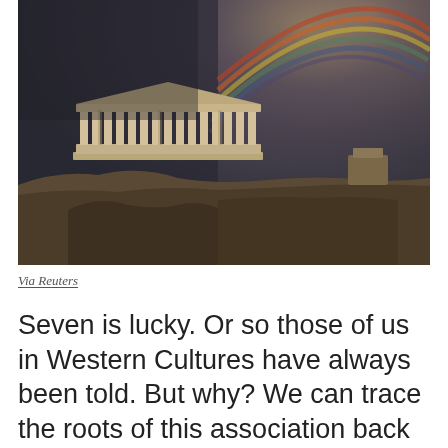[Figure (photo): Photograph of the Acropolis of Athens (the Parthenon) at dusk or night, with a dramatic dark grey stormy sky. A rainbow arcs from the upper right of the image toward the upper left. The ancient ruins and rocky hillside are illuminated against the dark sky.]
Via Reuters
Seven is lucky. Or so those of us in Western Cultures have always been told. But why? We can trace the roots of this association back to the 6th century BC and a dude named Pythagoras⁵. Now, Pythagoras loved numbers. And he loved applying numbers to